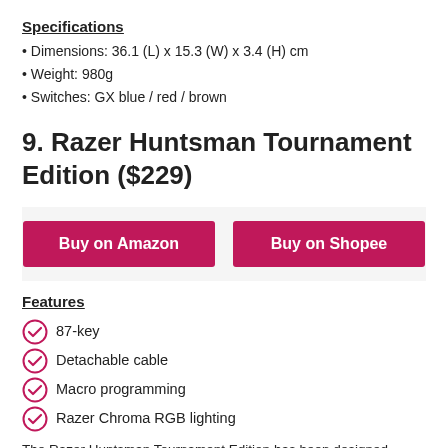Specifications
Dimensions: 36.1 (L) x 15.3 (W) x 3.4 (H) cm
Weight: 980g
Switches: GX blue / red / brown
9. Razer Huntsman Tournament Edition ($229)
[Figure (other): Two pink buttons: Buy on Amazon and Buy on Shopee]
Features
87-key
Detachable cable
Macro programming
Razer Chroma RGB lighting
The Razer Huntsman Tournament Edition has been designed